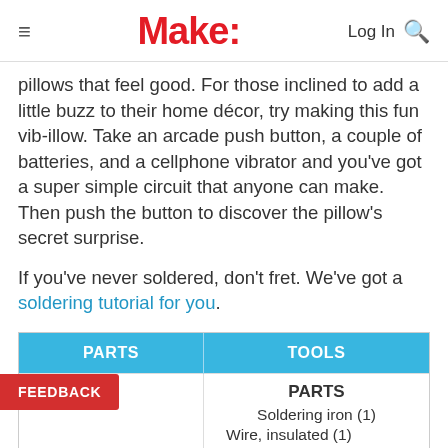Make:
pillows that feel good. For those inclined to add a little buzz to their home décor, try making this fun vib-illow. Take an arcade push button, a couple of batteries, and a cellphone vibrator and you've got a super simple circuit that anyone can make. Then push the button to discover the pillow's secret surprise.
If you've never soldered, don't fret. We've got a soldering tutorial for you.
| PARTS | TOOLS |
| --- | --- |
|  | PARTS
Soldering iron (1)
Wire, insulated (1) |